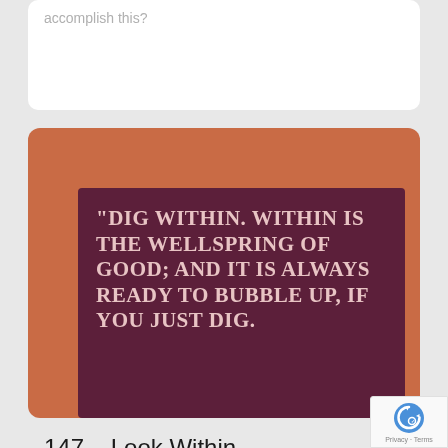accomplish this?
[Figure (illustration): Motivational quote image with terracotta/burnt-orange background and dark maroon inner panel displaying white bold text: "DIG WITHIN. WITHIN IS THE WELLSPRING OF GOOD; AND IT IS ALWAYS READY TO BUBBLE UP, IF YOU JUST DIG."]
147 – Look Within
Coffee Break / philosophy / stoicism / wisdom